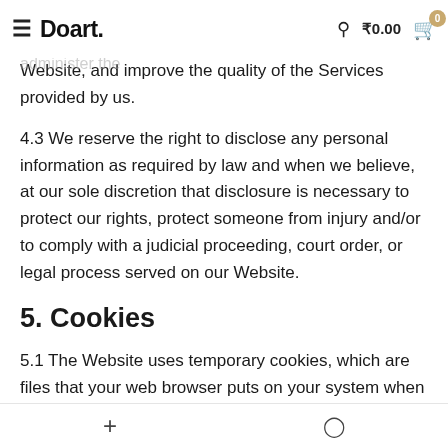Doart. ₹0.00
4.2 We may also disclose certain information to third parties solely to help diagnose technical problems, administer the Website, and improve the quality of the Services provided by us.
4.3 We reserve the right to disclose any personal information as required by law and when we believe, at our sole discretion that disclosure is necessary to protect our rights, protect someone from injury and/or to comply with a judicial proceeding, court order, or legal process served on our Website.
5. Cookies
5.1 The Website uses temporary cookies, which are files that your web browser puts on your system when you visit a website, to store certain information that is not sensitive personal information. The information collected through these cookies is used by us for the technical administration of the